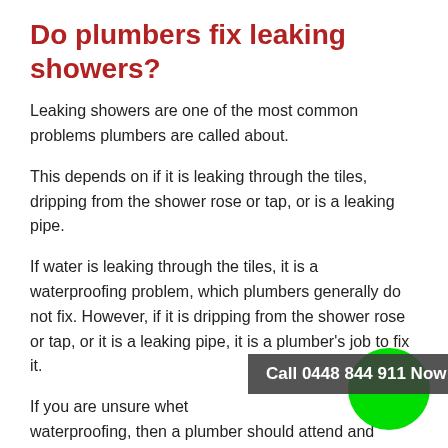Do plumbers fix leaking showers?
Leaking showers are one of the most common problems plumbers are called about.
This depends on if it is leaking through the tiles, dripping from the shower rose or tap, or is a leaking pipe.
If water is leaking through the tiles, it is a waterproofing problem, which plumbers generally do not fix. However, if it is dripping from the shower rose or tap, or it is a leaking pipe, it is a plumber's job to fix it.
If you are unsure whet… waterproofing, then a plumber should attend and…
Call 0448 844 911 Now